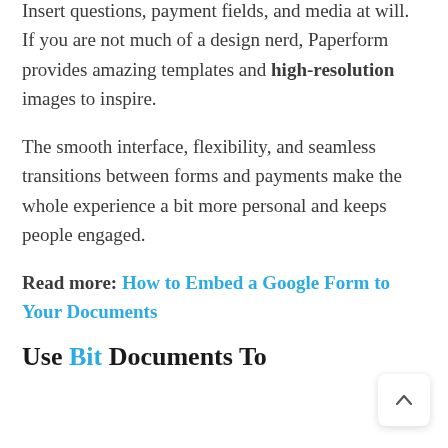Insert questions, payment fields, and media at will. If you are not much of a design nerd, Paperform provides amazing templates and high-resolution images to inspire.
The smooth interface, flexibility, and seamless transitions between forms and payments make the whole experience a bit more personal and keeps people engaged.
Read more: How to Embed a Google Form to Your Documents
Use Bit Documents To